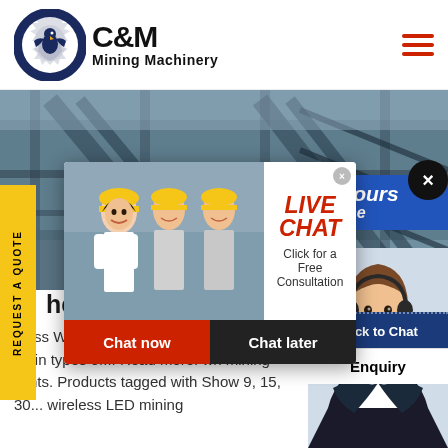C&M Mining Machinery
[Figure (screenshot): C&M Mining Machinery website header with logo (eagle in gear circle), company name, and hamburger menu icon in red]
[Figure (photo): Industrial mining machinery/conveyor belts aerial view hero banner]
REQUEST A QUOTE
[Figure (screenshot): Live Chat popup overlay with workers in hard hats photo, LIVE CHAT text in red, 'Click for a Free Consultation', Chat now (red button) and Chat later (dark button), and X close buttons]
Hours
line
[Figure (photo): Customer support agent (woman with headset) with Click to Chat button and Enquiry section]
heat Cordless Mining L
dless Wheat Mining Light Price - four main types of... Read more. wh mining lights. Products tagged with Show 9, 15, 30... wireless LED mining